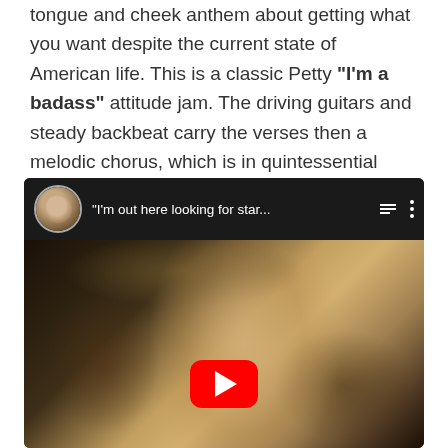tongue and cheek anthem about getting what you want despite the current state of American life. This is a classic Petty "I'm a badass" attitude jam. The driving guitars and steady backbeat carry the verses then a melodic chorus, which is in quintessential Heartbreakers style.
[Figure (screenshot): YouTube video embed showing a man with long blonde hair smiling, with the video title "I'm out here looking for star..." and a red YouTube play button in the center]